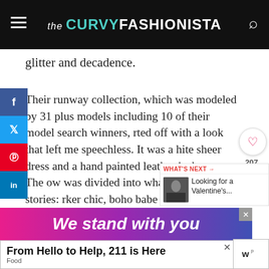the CURVY FASHIONISTA
glitter and decadence.
Their runway collection, which was modeled by 31 plus models including 10 of their model search winners, started off with a look that left me speechless. It was a white sheer dress and a hand painted leather jacket. The show was divided into what felt like three stories: rocker chic, boho babe and glitter glamazon. The leather jackets wowed me. The boho dresses weren't my personal taste and the sequin holiday pieces
WHAT'S NEXT → Looking for a Valentine's...
[Figure (infographic): We stand with you ad banner with pink/purple/blue gradient]
[Figure (infographic): From Hello to Help, 211 is Here advertisement banner - Food category]